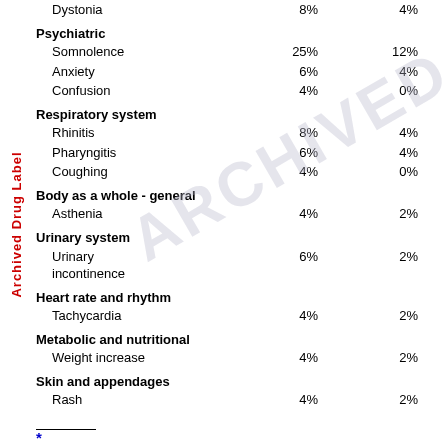|  |  |  |
| --- | --- | --- |
| Dystonia | 8% | 4% |
| Psychiatric |  |  |
|   Somnolence | 25% | 12% |
|   Anxiety | 6% | 4% |
|   Confusion | 4% | 0% |
| Respiratory system |  |  |
|   Rhinitis | 8% | 4% |
|   Pharyngitis | 6% | 4% |
|   Coughing | 4% | 0% |
| Body as a whole - general |  |  |
|   Asthenia | 4% | 2% |
| Urinary system |  |  |
|   Urinary incontinence | 6% | 2% |
| Heart rate and rhythm |  |  |
|   Tachycardia | 4% | 2% |
| Metabolic and nutritional |  |  |
|   Weight increase | 4% | 2% |
| Skin and appendages |  |  |
|   Rash | 4% | 2% |
* Events reported by at least 2% of patients treated